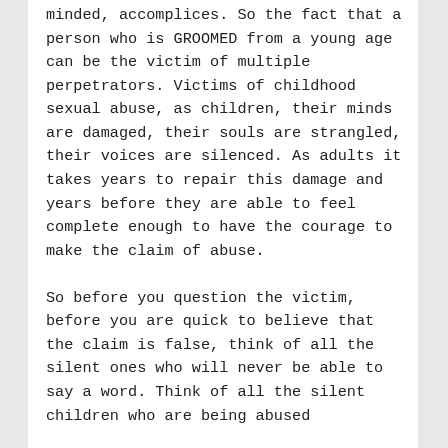minded, accomplices. So the fact that a person who is GROOMED from a young age can be the victim of multiple perpetrators. Victims of childhood sexual abuse, as children, their minds are damaged, their souls are strangled, their voices are silenced. As adults it takes years to repair this damage and years before they are able to feel complete enough to have the courage to make the claim of abuse.

So before you question the victim, before you are quick to believe that the claim is false, think of all the silent ones who will never be able to say a word. Think of all the silent children who are being abused